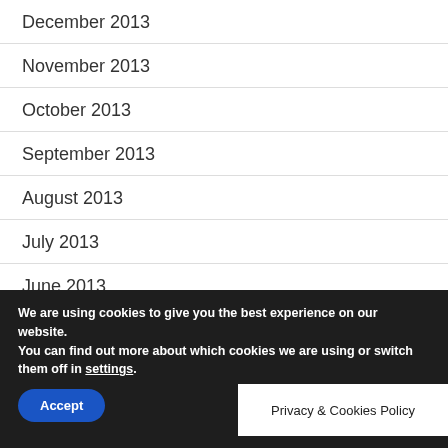December 2013
November 2013
October 2013
September 2013
August 2013
July 2013
June 2013
We are using cookies to give you the best experience on our website.
You can find out more about which cookies we are using or switch them off in settings.
Accept
Privacy & Cookies Policy